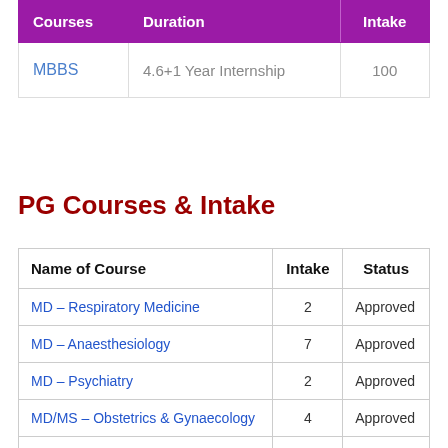| Courses | Duration | Intake |
| --- | --- | --- |
| MBBS | 4.6+1 Year Internship | 100 |
PG Courses & Intake
| Name of Course | Intake | Status |
| --- | --- | --- |
| MD – Respiratory Medicine | 2 | Approved |
| MD – Anaesthesiology | 7 | Approved |
| MD – Psychiatry | 2 | Approved |
| MD/MS – Obstetrics & Gynaecology | 4 | Approved |
| MD – Dermatology , Venereology & | 2 | Permitted |